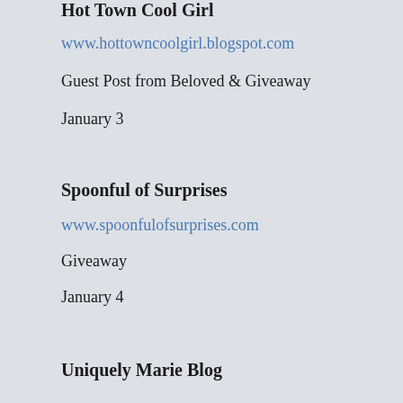Hot Town Cool Girl
www.hottowncoolgirl.blogspot.com
Guest Post from Beloved & Giveaway
January 3
Spoonful of Surprises
www.spoonfulofsurprises.com
Giveaway
January 4
Uniquely Marie Blog